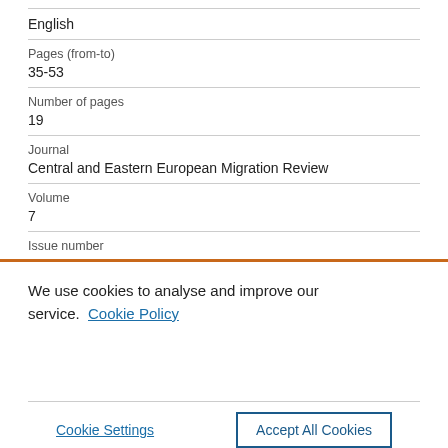English
Pages (from-to)
35-53
Number of pages
19
Journal
Central and Eastern European Migration Review
Volume
7
Issue number
We use cookies to analyse and improve our service. Cookie Policy
Cookie Settings
Accept All Cookies